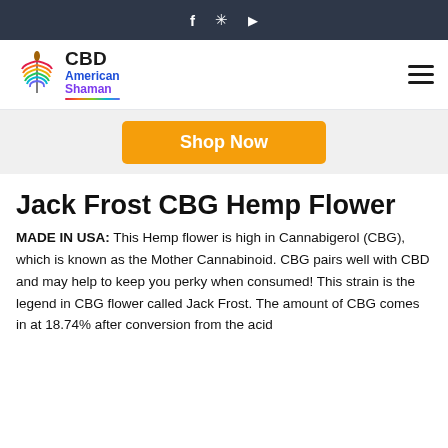Social media icons: Facebook, Yelp, YouTube
[Figure (logo): CBD American Shaman logo with colorful feather and brand name]
[Figure (other): Hamburger menu icon]
[Figure (other): Shop Now orange button]
Jack Frost CBG Hemp Flower
MADE IN USA: This Hemp flower is high in Cannabigerol (CBG), which is known as the Mother Cannabinoid. CBG pairs well with CBD and may help to keep you perky when consumed! This strain is the legend in CBG flower called Jack Frost. The amount of CBG comes in at 18.74% after conversion from the acid